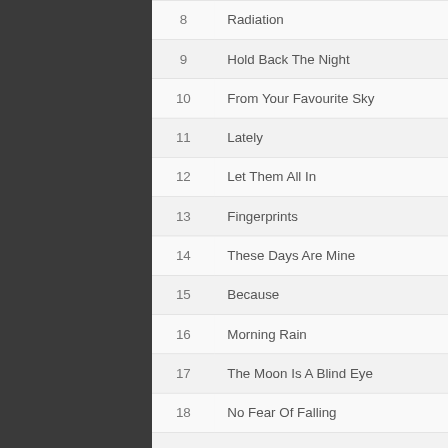| # | Title | Duration |
| --- | --- | --- |
| 8 | Radiation | 6:09 |
| 9 | Hold Back The Night | 5:19 |
| 10 | From Your Favourite Sky | 3:24 |
| 11 | Lately | 4:10 |
| 12 | Let Them All In | 4:23 |
| 13 | Fingerprints | 4:24 |
| 14 | These Days Are Mine | 6:51 |
| 15 | Because | 5:02 |
| 16 | Morning Rain | 3:39 |
| 17 | The Moon Is A Blind Eye | 3:55 |
| 18 | No Fear Of Falling | 2:58 |